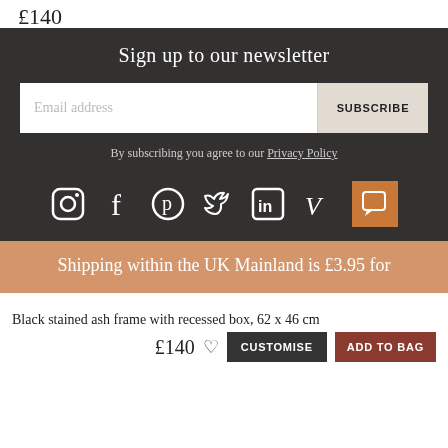£140
Sign up to our newsletter
Email address
SUBSCRIBE
By subscribing you agree to our Privacy Policy
[Figure (illustration): Social media icons: Instagram, Facebook, Pinterest, Twitter, LinkedIn, Vimeo, and a chat bubble icon on orange background]
Shipping within the UK Mainland is £3.95 for
Black stained ash frame with recessed box, 62 x 46 cm
£140
CUSTOMISE
ADD TO BAG